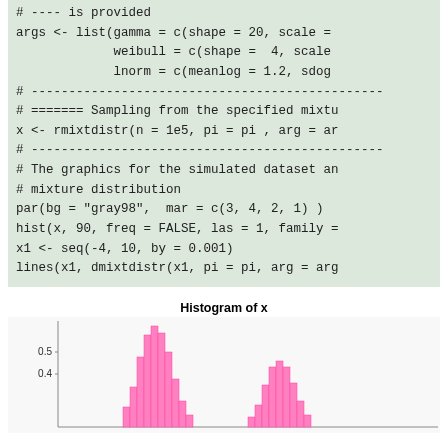# ---- (truncated)
args <- list(gamma = c(shape = 20, scale =
             weibull = c(shape =  4, scale
             lnorm = c(meanlog = 1.2, sdog
# ---------------------------------------------------
# ======= Sampling from the specified mixtu
x <- rmixtdistr(n = 1e5, pi = pi , arg = ar
# ---------------------------------------------------
# The graphics for the simulated dataset an
# mixture distribution
par(bg = "gray98",  mar = c(3, 4, 2, 1) )
hist(x, 90, freq = FALSE, las = 1, family =
x1 <- seq(-4, 10, by = 0.001)
lines(x1, dmixtdistr(x1, pi = pi, arg = arg
[Figure (continuous-plot): Partial histogram of x showing pink/magenta distribution bars with title 'Histogram of x', y-axis showing values 0.5 and 0.4, with two visible peaks of the mixture distribution]